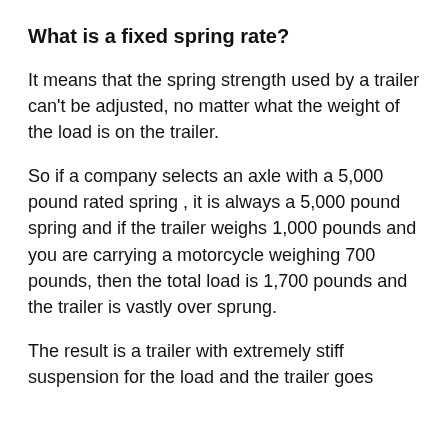What is a fixed spring rate?
It means that the spring strength used by a trailer can't be adjusted, no matter what the weight of the load is on the trailer.
So if a company selects an axle with a 5,000 pound rated spring , it is always a 5,000 pound spring and if the trailer weighs 1,000 pounds and you are carrying a motorcycle weighing 700 pounds, then the total load is 1,700 pounds and the trailer is vastly over sprung.
The result is a trailer with extremely stiff suspension for the load and the trailer goes